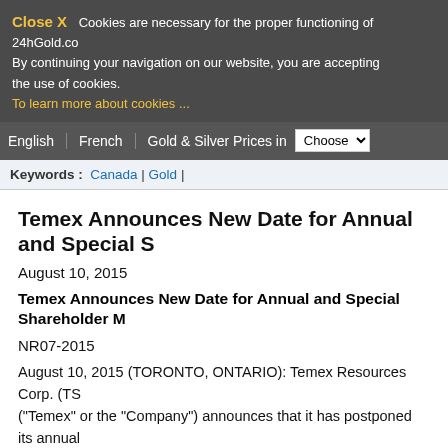Close X  Cookies are necessary for the proper functioning of 24hGold.com. By continuing your navigation on our website, you are accepting the use of cookies. To learn more about cookies ...
English | French | Gold & Silver Prices in Choose
Keywords : Canada | Gold |
Temex Announces New Date for Annual and Special S...
August 10, 2015
Temex Announces New Date for Annual and Special Shareholder M...
NR07-2015
August 10, 2015 (TORONTO, ONTARIO): Temex Resources Corp. (TS... ("Temex" or the "Company") announces that it has postponed its annual shareholders that was to have been held on August 20, 2015. The new da... special meeting of shareholders is Monday, September 14, 2015 (the "M... held to consider, among other things, the proposed plan of arrangement p... arrangement agreement (the "Lake Shore Arrangement Agreement") ent... Lake Shore Gold Corp. ("Lake Shore") dated July 31, 2015, on the terms... press release of July 31, 2015. The record date for the Meeting will rema...